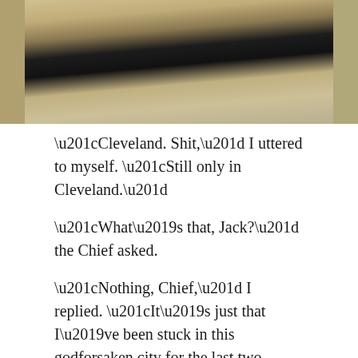[Figure (photo): A person wearing a beige blazer and dark shirt, photographed from the torso down, standing outdoors.]
“Cleveland. Shit,” I uttered to myself. “Still only in Cleveland.”
“What’s that, Jack?” the Chief asked.
“Nothing, Chief,” I replied. “It’s just that I’ve been stuck in this godforsaken city for the last two months.”
“Eh,” the Chief shrugged, “at least it ain’t Cincinnati.”
“Ain’t that the truth,” I replied as I lit up a cigarette. “What do you got for me?”
“A triple homicide. Two dead hookers and an